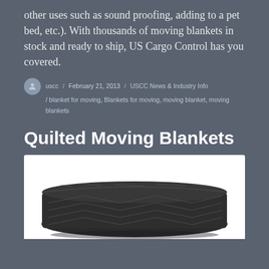other uses such as sound proofing, adding to a pet bed, etc.). With thousands of moving blankets in stock and ready to ship, US Cargo Control has you covered.
uscc / February 21, 2013 / USCC News & Industry Info / blanket for moving, Blankets for moving, moving blanket, moving blankets
Quilted Moving Blankets
[Figure (photo): A folded dark grey/black quilted moving blanket with chevron stitching pattern, photographed against a white background.]